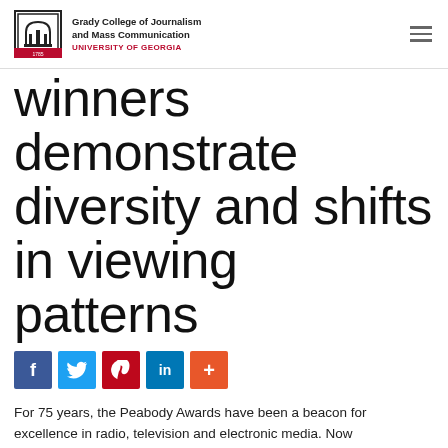Grady College of Journalism and Mass Communication — UNIVERSITY OF GEORGIA
winners demonstrate diversity and shifts in viewing patterns
[Figure (infographic): Social share buttons: Facebook (blue), Twitter (light blue), Pinterest (red), LinkedIn (dark blue), More (orange)]
For 75 years, the Peabody Awards have been a beacon for excellence in radio, television and electronic media. Now